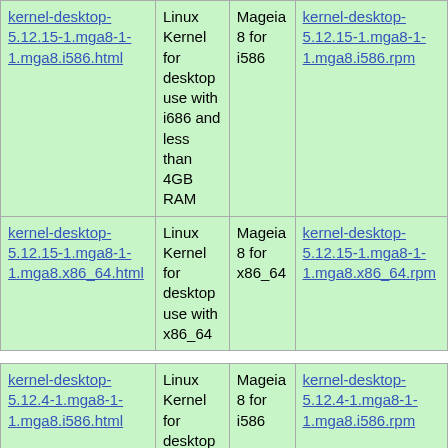| kernel-desktop-5.12.15-1.mga8-1-1.mga8.i586.html | Linux Kernel for desktop use with i686 and less than 4GB RAM | Mageia 8 for i586 | kernel-desktop-5.12.15-1.mga8-1-1.mga8.i586.rpm |
| kernel-desktop-5.12.15-1.mga8-1-1.mga8.x86_64.html | Linux Kernel for desktop use with x86_64 | Mageia 8 for x86_64 | kernel-desktop-5.12.15-1.mga8-1-1.mga8.x86_64.rpm |
| kernel-desktop-5.12.4-1.mga8-1-1.mga8.i586.html | Linux Kernel for desktop use with i686 and less than 4GB RAM | Mageia 8 for i586 | kernel-desktop-5.12.4-1.mga8-1-1.mga8.i586.rpm |
| kernel-desktop-5.12.4-1.mga8-1-1.mga8.x86_64.html | Linux Kernel for desktop use with x86_64 | Mageia 8 for x86_64 | kernel-desktop-5.12.4-1.mga8-1-1.mga8.x86_64.rpm |
|  | Linux |  |  |